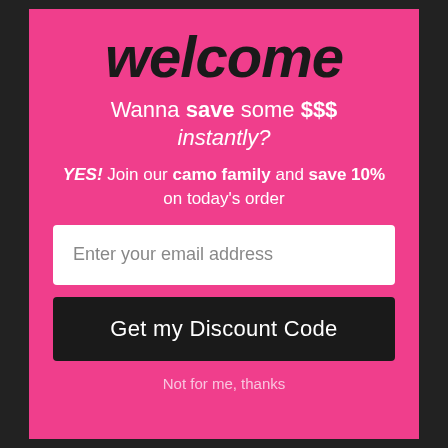welcome
Wanna save some $$$ instantly?
YES! Join our camo family and save 10% on today's order
Enter your email address
Get my Discount Code
Not for me, thanks